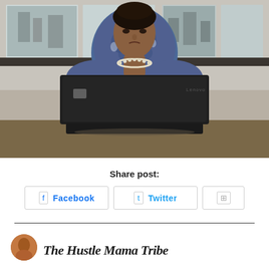[Figure (photo): Woman in a blue floral blouse with pearl necklace looking down at a Lenovo ThinkPad laptop on a table, in front of large windows with an urban view]
Share post:
Facebook
Twitter
[Figure (logo): The Hustle Mama Tribe logo with avatar and cursive script text]